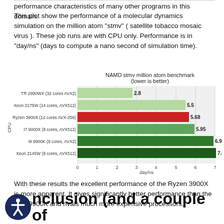performance characteristics of many other programs in this domain.
This plot show the performance of a molecular dynamics simulation on the million atom "stmv" ( satellite tobacco mosaic virus ). These job runs are with CPU only. Performance is in "day/ns" (days to compute a nano second of simulation time).
[Figure (bar-chart): NAMD stmv million atom benchmark (lower is better)]
With these results the excellent performance of the Ryzen 3900X is more apparent. It gives significantly better performance than the Intel 9900K and rivals much more expensive processors.
nclusion (and a couple of